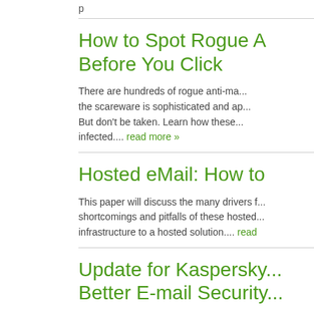p
How to Spot Rogue A... Before You Click
There are hundreds of rogue anti-ma... the scareware is sophisticated and ap... But don't be taken. Learn how these... infected.... read more »
Hosted eMail: How to...
This paper will discuss the many drivers f... shortcomings and pitfalls of these hosted... infrastructure to a hosted solution.... read...
Update for Kaspersky... Better E-mail Security...